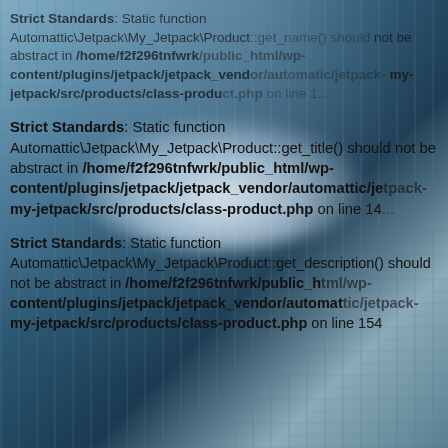[Figure (screenshot): Server room background with dark blue tones, cloud and server rack imagery overlaid with PHP strict standards error messages.]
Strict Standards: Static function Automattic\Jetpack\My_Jetpack\Product::get_name() should not be abstract in /home/f2f296tnfwrk/public_html/wp-content/plugins/jetpack/jetpack_vendor/automattic/jetpack-my-jetpack/src/products/class-product.php on line 1...
Strict Standards: Static function Automattic\Jetpack\My_Jetpack\Product::get_title() should not be abstract in /home/f2f296tnfwrk/public_html/wp-content/plugins/jetpack/jetpack_vendor/automattic/jetpack-my-jetpack/src/products/class-product.php on line 14...
Strict Standards: Static function Automattic\Jetpack\My_Jetpack\Product::get_description() should not be abstract in /home/f2f296tnfwrk/public_html/wp-content/plugins/jetpack/jetpack_vendor/automattic/jetpack-my-jetpack/src/products/class-product.php on line 154